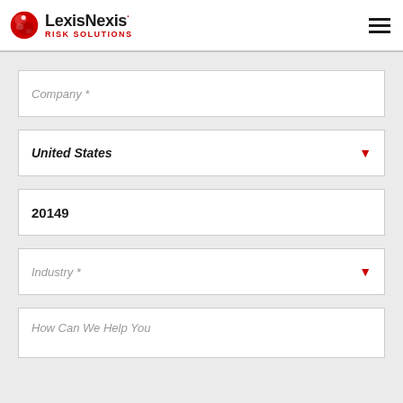[Figure (logo): LexisNexis Risk Solutions logo with red globe icon and hamburger menu icon]
Company *
United States
20149
Industry *
How Can We Help You